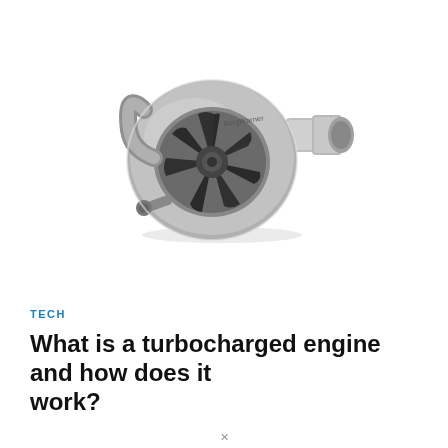[Figure (photo): A BorgWarner turbocharger unit photographed against a white background, showing the silver metallic compressor housing with turbine blades visible, and outlet pipe extending to the right.]
TECH
What is a turbocharged engine and how does it work?